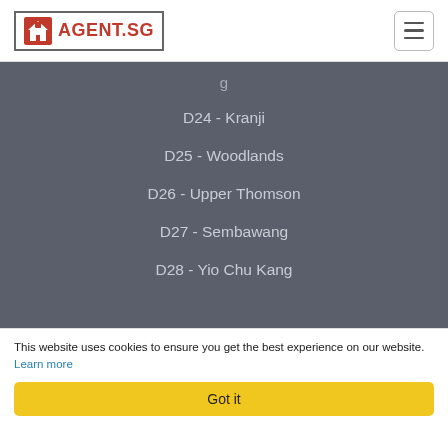[Figure (logo): AGENT.SG logo with house icon, red text, bordered box]
D24 - Kranji
D25 - Woodlands
D26 - Upper Thomson
D27 - Sembawang
D28 - Yio Chu Kang
The portfolio of Singaporean property listing site with the number of flats and b...
This website uses cookies to ensure you get the best experience on our website. Learn more
Got it